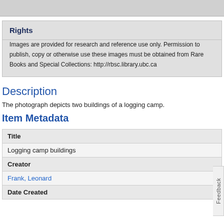Rights
Images are provided for research and reference use only. Permission to publish, copy or otherwise use these images must be obtained from Rare Books and Special Collections: http://rbsc.library.ubc.ca
Description
The photograph depicts two buildings of a logging camp.
Item Metadata
| Title |
| --- |
| Logging camp buildings |
| Creator |
| --- |
| Frank, Leonard |
| Date Created |
| --- |
|  |